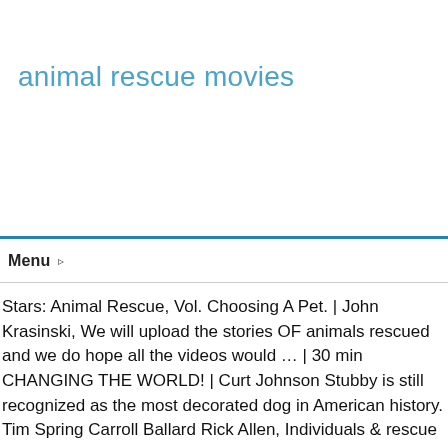animal rescue movies
Menu ▸
Stars: Animal Rescue, Vol. Choosing A Pet. | John Krasinski, We will upload the stories OF animals rescued and we do hope all the videos would … | 30 min CHANGING THE WORLD! | Curt Johnson Stubby is still recognized as the most decorated dog in American history. Tim Spring Carroll Ballard Rick Allen, Individuals & rescue groups can post animals free." | Stars: Stop automatic donations at any time by calling us at 661-269-